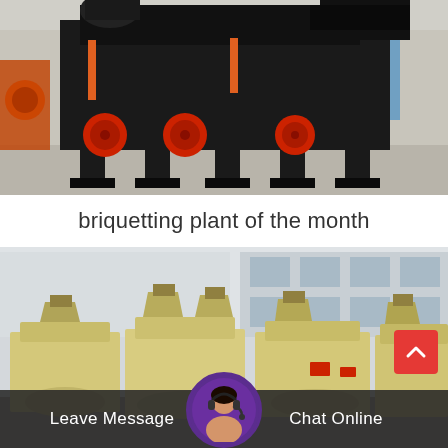[Figure (photo): Industrial briquetting plant machine — large black metal heavy machinery frame with mechanical components, red pulleys/belts visible, parked in an industrial yard. Blue and orange equipment visible in background.]
briquetting plant of the month
[Figure (photo): Row of beige/cream colored industrial crushing or screening machines with hopper chutes on top, arranged in a factory yard with a building visible in the background.]
Leave Message   Chat Online